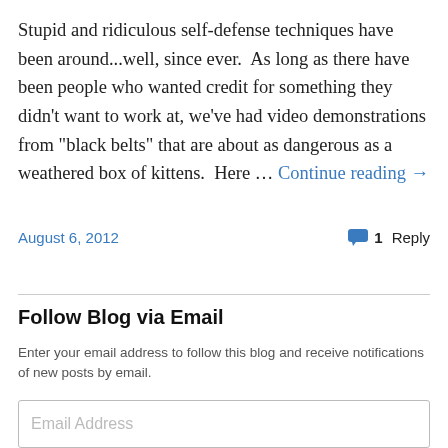Stupid and ridiculous self-defense techniques have been around...well, since ever.  As long as there have been people who wanted credit for something they didn't want to work at, we've had video demonstrations from "black belts" that are about as dangerous as a weathered box of kittens.  Here … Continue reading →
August 6, 2012   1 Reply
Follow Blog via Email
Enter your email address to follow this blog and receive notifications of new posts by email.